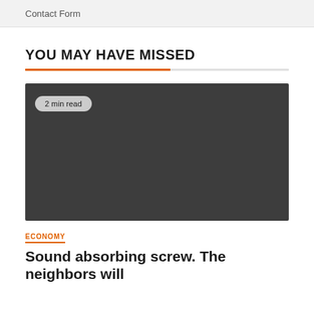Contact Form
YOU MAY HAVE MISSED
[Figure (photo): Dark gray placeholder image for an article, with a '2 min read' badge in the upper left corner.]
ECONOMY
Sound absorbing screw. The neighbors will